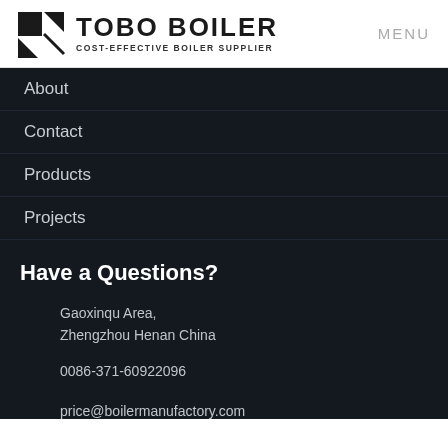TOBO BOILER COST-EFFECTIVE BOILER SUPPLIER | MENU
About
Contact
Products
Projects
Have a Questions?
Gaoxinqu Area,
Zhengzhou Henan China
0086-371-60922096
price@boilermanufactory.com